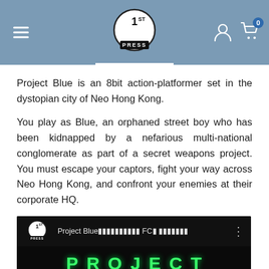1ST PRESS - Navigation header with logo, menu, user icon, and cart
Project Blue is an 8bit action-platformer set in the dystopian city of Neo Hong Kong.
You play as Blue, an orphaned street boy who has been kidnapped by a nefarious multi-national conglomerate as part of a secret weapons project. You must escape your captors, fight your way across Neo Hong Kong, and confront your enemies at their corporate HQ.
[Figure (screenshot): YouTube-style video thumbnail for Project Blue FC game trailer, showing the 1ST PRESS logo, video title with Japanese characters, and game title 'PROJECT' in green pixel letters with character sprites below on black background.]